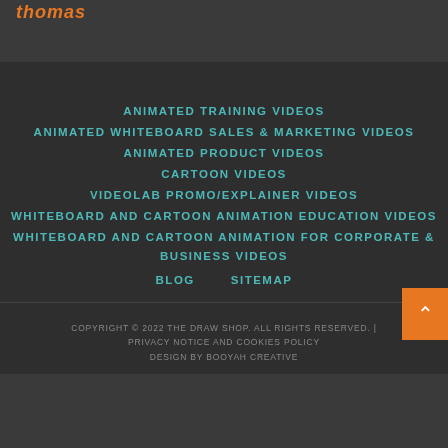thomas
ANIMATED TRAINING VIDEOS
ANIMATED WHITEBOARD SALES & MARKETING VIDEOS
ANIMATED PRODUCT VIDEOS
CARTOON VIDEOS
VIDEOLAB PROMO/EXPLAINER VIDEOS
WHITEBOARD AND CARTOON ANIMATION EDUCATION VIDEOS
WHITEBOARD AND CARTOON ANIMATION FOR CORPORATE & BUSINESS VIDEOS
BLOG
SITEMAP
COPYRIGHT © 2022 THE DRAW SHOP. ALL RIGHTS RESERVED. | PRIVACY NOTICE AND COOKIES POLICY DESIGN BY BOOYAH CREATIVE